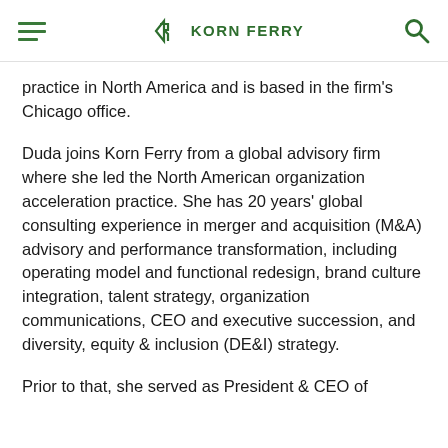KORN FERRY
practice in North America and is based in the firm's Chicago office.
Duda joins Korn Ferry from a global advisory firm where she led the North American organization acceleration practice. She has 20 years' global consulting experience in merger and acquisition (M&A) advisory and performance transformation, including operating model and functional redesign, brand culture integration, talent strategy, organization communications, CEO and executive succession, and diversity, equity & inclusion (DE&I) strategy.
Prior to that, she served as President & CEO of